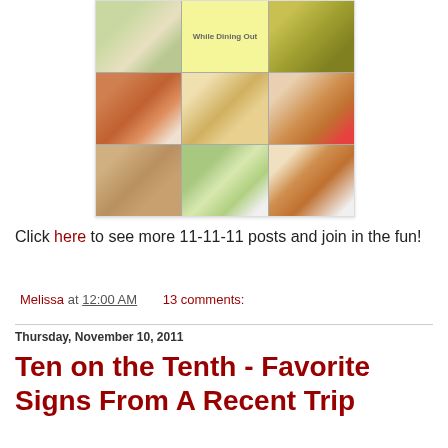[Figure (photo): A collage of food photos arranged in a 3x3 grid. The center top cell has a yellow background with text 'While Dining Out'. Other cells show various restaurant food dishes including fried items, hot dogs, salads, and other meals.]
Click here to see more 11-11-11 posts and join in the fun!
Melissa at 12:00 AM    13 comments:
Thursday, November 10, 2011
Ten on the Tenth - Favorite Signs From A Recent Trip